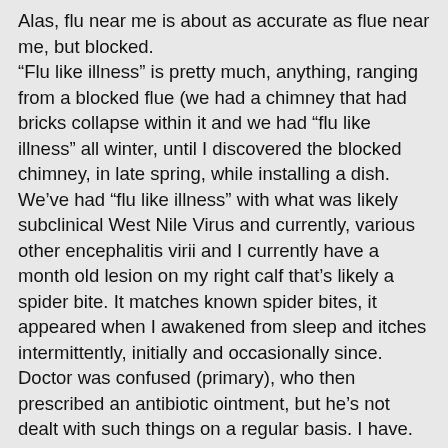Alas, flu near me is about as accurate as flue near me, but blocked. “Flu like illness” is pretty much, anything, ranging from a blocked flue (we had a chimney that had bricks collapse within it and we had “flu like illness” all winter, until I discovered the blocked chimney, in late spring, while installing a dish. We’ve had “flu like illness” with what was likely subclinical West Nile Virus and currently, various other encephalitis virii and I currently have a month old lesion on my right calf that’s likely a spider bite. It matches known spider bites, it appeared when I awakened from sleep and itches intermittently, initially and occasionally since. Doctor was confused (primary), who then prescribed an antibiotic ointment, but he’s not dealt with such things on a regular basis. I have. It’s not brown recluse, not hobo spider, but